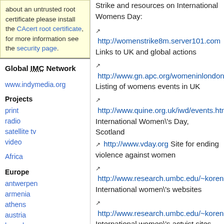about an untrusted root certificate please install the CAcert root certificate, for more information see the security page.
Global IMC Network
www.indymedia.org
Projects
print
radio
satellite tv
video
Africa
Europe
antwerpen
armenia
athens
austria
barcelona
Strike and resources on International Womens Day:
http://womenstrike8m.server101.com Links to UK and global actions
http://www.gn.apc.org/womeninlondon/feve Listing of womens events in UK
http://www.quine.org.uk/iwd/events.html International Women's Day, Scotland
http://www.vday.org Site for ending violence against women
http://www.research.umbc.edu/~korenman/ International women's websites
http://www.research.umbc.edu/~korenman/ International women's actvist sites
http://www.unesco.org/march8/ UNESCO and the International Federation of Journalists (IFJ) are calling on all media to name women to posts of editorial responsibility for a week from 5-11 March 2001 to mark International Women's Day